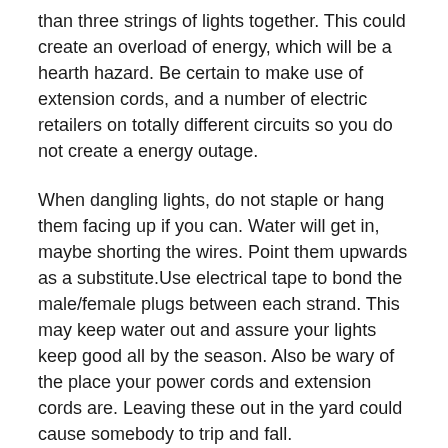than three strings of lights together. This could create an overload of energy, which will be a hearth hazard. Be certain to make use of extension cords, and a number of electric retailers on totally different circuits so you do not create a energy outage.
When dangling lights, do not staple or hang them facing up if you can. Water will get in, maybe shorting the wires. Point them upwards as a substitute.Use electrical tape to bond the male/female plugs between each strand. This may keep water out and assure your lights keep good all by the season. Also be wary of the place your power cords and extension cords are. Leaving these out in the yard could cause somebody to trip and fall.
Here is one potential concern you probably have not considered: squirrels. Particularly in North America, squirrels have been a nemesis to Christmas led lights. As